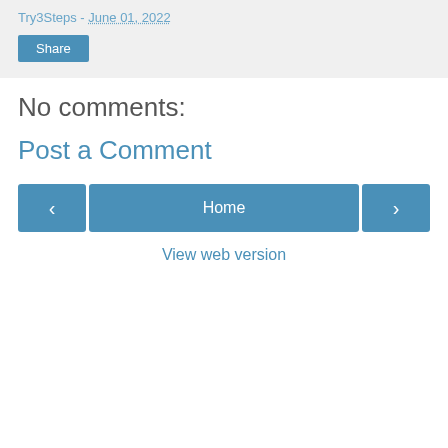Try3Steps - June 01, 2022
Share
No comments:
Post a Comment
‹
Home
›
View web version